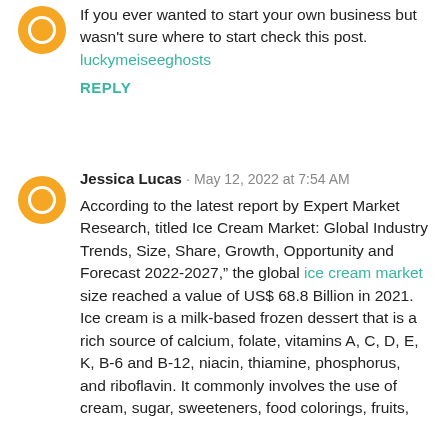If you ever wanted to start your own business but wasn't sure where to start check this post.
luckymeiseeghosts
REPLY
Jessica Lucas · May 12, 2022 at 7:54 AM
According to the latest report by Expert Market Research, titled Ice Cream Market: Global Industry Trends, Size, Share, Growth, Opportunity and Forecast 2022-2027," the global ice cream market size reached a value of US$ 68.8 Billion in 2021. Ice cream is a milk-based frozen dessert that is a rich source of calcium, folate, vitamins A, C, D, E, K, B-6 and B-12, niacin, thiamine, phosphorus, and riboflavin. It commonly involves the use of cream, sugar, sweeteners, food colorings, fruits,